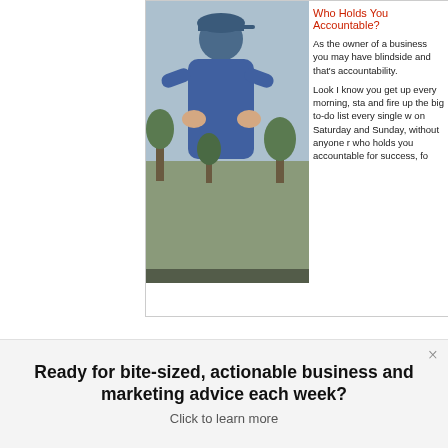[Figure (screenshot): Screenshot of a blog post showing a photo of a man in a blue jacket and cap clapping, alongside article text titled 'Who Holds You Accountable?' with body text about business accountability.]
Supplement – this plug in allows you to add all kinds of content to your feed. This might be useful for folks who want to encourage subscribers by offering premium content that non-subscribers don't get to see.
Ready for bite-sized, actionable business and marketing advice each week? Click to learn more